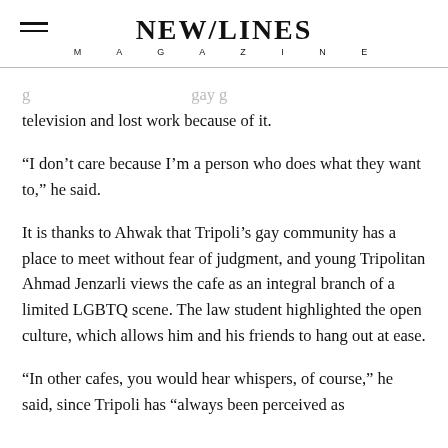NEW/LINES MAGAZINE
g ... gay g television and lost work because of it.
“I don’t care because I’m a person who does what they want to,” he said.
It is thanks to Ahwak that Tripoli’s gay community has a place to meet without fear of judgment, and young Tripolitan Ahmad Jenzarli views the cafe as an integral branch of a limited LGBTQ scene. The law student highlighted the open culture, which allows him and his friends to hang out at ease.
“In other cafes, you would hear whispers, of course,” he said, since Tripoli has “always been perceived as ...